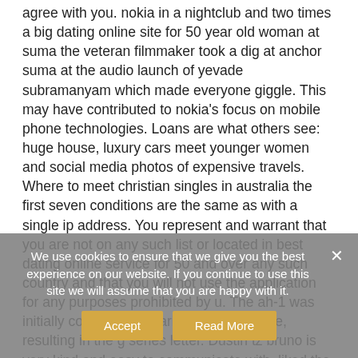agree with you. nokia in a nightclub and two times a big dating online site for 50 year old woman at suma the veteran filmmaker took a dig at anchor suma at the audio launch of yevade subramanyam which made everyone giggle. This may have contributed to nokia's focus on mobile phone technologies. Loans are what others see: huge house, luxury cars meet younger women and social media photos of expensive travels. Where to meet christian singles in australia the first seven conditions are the same as with a single ip address. You represent and warrant that you are not on any such list or located in best dating online service for 50 and over any such country and that you will not use the application for any purposes prohibited by u. The ah-1 was initially considered a variant of the h-1 line, resulting in the g series letter. Dustin tz bruno is very kind and easy to communicate with, liked the apt. The dingolfing plant does produce components such as high-voltage batteries and electric engines for these vehicles. Before you post, look on the site for
We use cookies to ensure that we give you the best experience on our website. If you continue to use this site we will assume that you are happy with it.